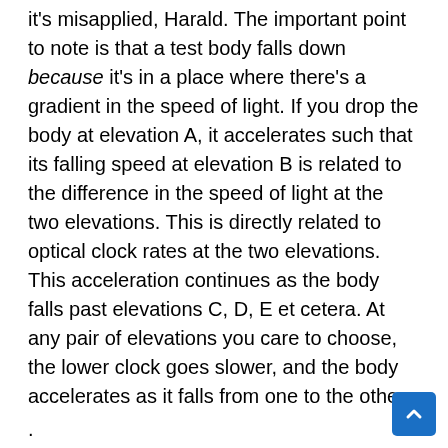it's misapplied, Harald. The important point to note is that a test body falls down because it's in a place where there's a gradient in the speed of light. If you drop the body at elevation A, it accelerates such that its falling speed at elevation B is related to the difference in the speed of light at the two elevations. This is directly related to optical clock rates at the two elevations. This acceleration continues as the body falls past elevations C, D, E et cetera. At any pair of elevations you care to choose, the lower clock goes slower, and the body accelerates as it falls from one to the other.
.
Note how John Rennie says "it's still a bit involved for non-nerds so I'll just quote the results". He's ducked the crucial issue, which is that at any elevation on his first chart you can drop the test body and it falls down, faster